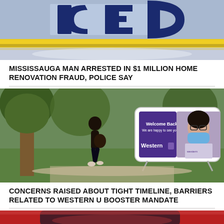[Figure (photo): Close-up of a police vehicle with blue and white markings and yellow police tape in the background.]
MISSISSAUGA MAN ARRESTED IN $1 MILLION HOME RENOVATION FRAUD, POLICE SAY
[Figure (photo): A person walking on a campus path toward a Western University sign that reads 'Welcome Back. We are happy to see you.' A masked student appears on the sign.]
CONCERNS RAISED ABOUT TIGHT TIMELINE, BARRIERS RELATED TO WESTERN U BOOSTER MANDATE
[Figure (photo): Partial view of a red vehicle, bottom of page, cropped.]